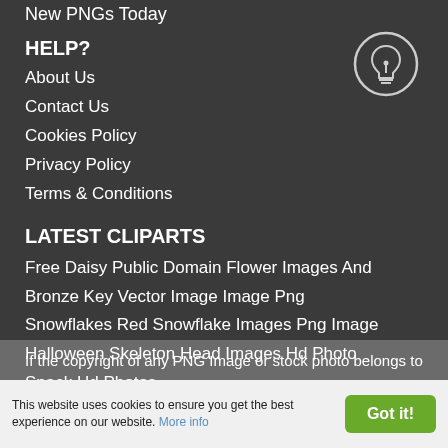New PNGs Today
HELP?
About Us
Contact Us
Cookies Policy
Privacy Policy
Terms & Conditions
LATEST CLIPARTS
Free Daisy Public Domain Flower Images And
Bronze Key Vector Image Image Png
Snowflakes Red Snowflake Images Png Image
Halloween Skeleton Head Images Hd Photo
Snack Hd Photos
If the copyright of any PNG Image or stock photo belongs to you,
This website uses cookies to ensure you get the best experience on our website. More info